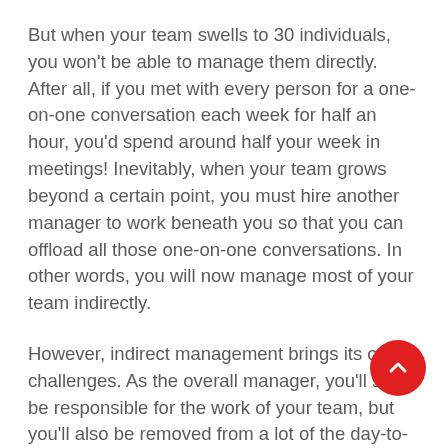But when your team swells to 30 individuals, you won't be able to manage them directly. After all, if you met with every person for a one-on-one conversation each week for half an hour, you'd spend around half your week in meetings! Inevitably, when your team grows beyond a certain point, you must hire another manager to work beneath you so that you can offload all those one-on-one conversations. In other words, you will now manage most of your team indirectly.
However, indirect management brings its own challenges. As the overall manager, you'll still be responsible for the work of your team, but you'll also be removed from a lot of the day-to-day decisions that get made. This loss of control can be disturbing at first, so don't worry if it takes time to find the middle ground between deep-diving into a problem and stepping back and trusting your middle managers to handle it.